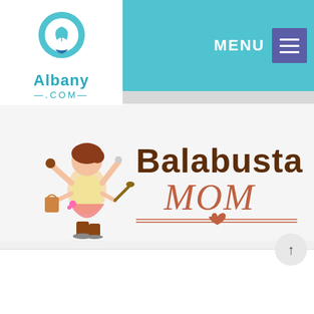[Figure (logo): Albany.com logo: location pin icon with leaf design in teal/blue, text 'Albany' in teal bold, '—.COM—' below in teal]
MENU ☰
[Figure (logo): Balabusta Mom blog logo: cartoon illustration of a multi-tasking woman in apron on roller skates holding kitchen items, with text 'Balabusta' in bold brown and 'MOM' in cursive salmon/coral with decorative heart divider line]
Note: Albany.com is not responsible for posts and comments written by non-staff members.
Ode to My Favorite Husband